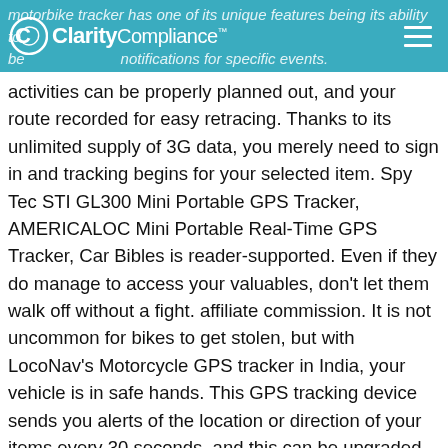ClarityCompliance™
motorbike tracker has one of its unique features being its ability to be... notifications for specific events. a motorcycle tracker, your road trips, hikes and other outdoor activities can be properly planned out, and your route recorded for easy retracing. Thanks to its unlimited supply of 3G data, you merely need to sign in and tracking begins for your selected item. Spy Tec STI GL300 Mini Portable GPS Tracker, AMERICALOC Mini Portable Real-Time GPS Tracker, Car Bibles is reader-supported. Even if they do manage to access your valuables, don't let them walk off without a fight. affiliate commission. It is not uncommon for bikes to get stolen, but with LocoNav's Motorcycle GPS tracker in India, your vehicle is in safe hands. This GPS tracking device sends you alerts of the location or direction of your items every 30 seconds, and this can be upgraded to every ten seconds. It just feels great riding them in the open air. Upon purchase, you are given a fully charged tracking device that is ready to hit the road and operate. It enables you to identify the safety of your vehicle by tracking its movement as soon as they begin. Trak-4 GPS Tracker for Tracking Vehicles. Add The location of your asset is updated every minute.